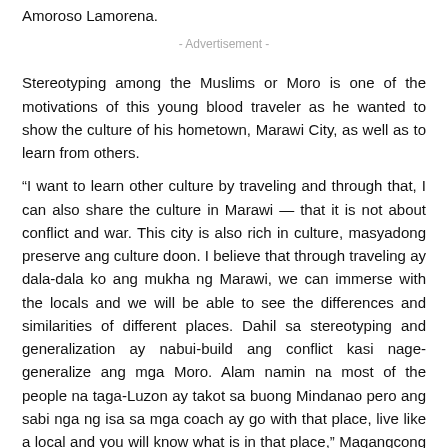Amoroso Lamorena.
- Advertisement -
Stereotyping among the Muslims or Moro is one of the motivations of this young blood traveler as he wanted to show the culture of his hometown, Marawi City, as well as to learn from others.
“I want to learn other culture by traveling and through that, I can also share the culture in Marawi — that it is not about conflict and war. This city is also rich in culture, masyadong preserve ang culture doon. I believe that through traveling ay dala-dala ko ang mukha ng Marawi, we can immerse with the locals and we will be able to see the differences and similarities of different places. Dahil sa stereotyping and generalization ay nabui-build ang conflict kasi nage-generalize ang mga Moro. Alam namin na most of the people na taga-Luzon ay takot sa buong Mindanao pero ang sabi nga ng isa sa mga coach ay go with that place, live like a local and you will know what is in that place,” Magangcong said.